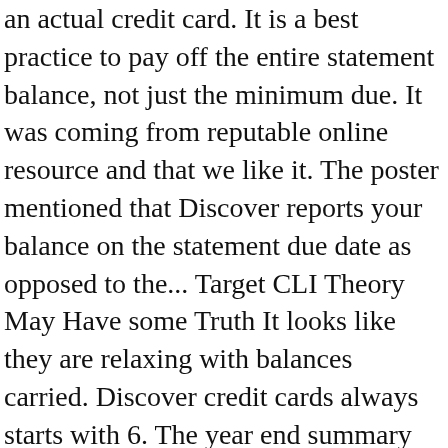an actual credit card. It is a best practice to pay off the entire statement balance, not just the minimum due. It was coming from reputable online resource and that we like it. The poster mentioned that Discover reports your balance on the statement due date as opposed to the... Target CLI Theory May Have some Truth It looks like they are relaxing with balances carried. Discover credit cards always starts with 6. The year end summary will streamline the way you manage your expenses by showing you every transaction on your Discover Card account throughout the calendar year. To get Discover Credit cards simply follow instructions below. Compare credit cards to find which offer is right for you.. Join today . It's fast and secure There is no impact on your credit to view offers Benefits. 1. Federal law requires your credit card billing cycles to be consistent. 16-Digit